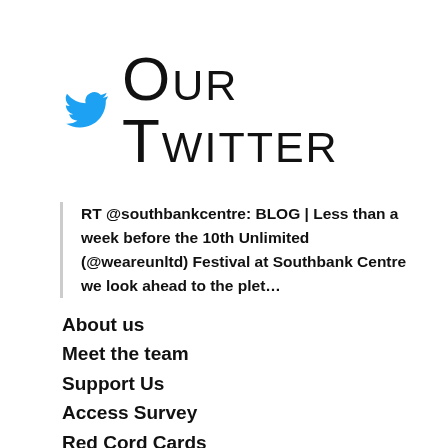Our Twitter
RT @southbankcentre: BLOG | Less than a week before the 10th Unlimited (@weareunltd) Festival at Southbank Centre we look ahead to the plet…
About us
Meet the team
Support Us
Access Survey
Red Cord Cards
What makes a good review